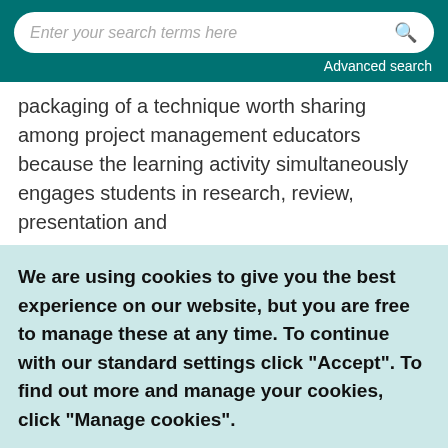Enter your search terms here | Advanced search
packaging of a technique worth sharing among project management educators because the learning activity simultaneously engages students in research, review, presentation and
We are using cookies to give you the best experience on our website, but you are free to manage these at any time. To continue with our standard settings click "Accept". To find out more and manage your cookies, click "Manage cookies".
Accept   Manage cookies   ×
School, Accra. The paper is entitled "Analysing delay causes and effects in Ghanaian State